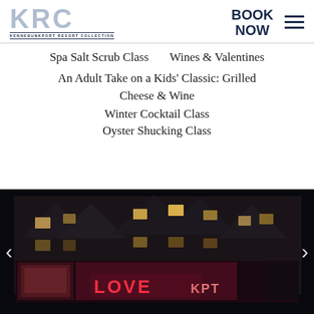[Figure (logo): KRC Kennebunkport Resort Collection logo — large grey KRC letters with KENNEBUNKPORT RESORT COLLECTION subtitle text in small caps]
BOOK NOW
Spa Salt Scrub Class
Wines & Valentines
An Adult Take on a Kids' Classic: Grilled Cheese & Wine
Winter Cocktail Class
Oyster Shucking Class
[Figure (photo): Night photo of a multi-story building decorated with warm lights and pink/red flower decorations. Neon sign reads LOVE KPT in red letters on the storefront.]